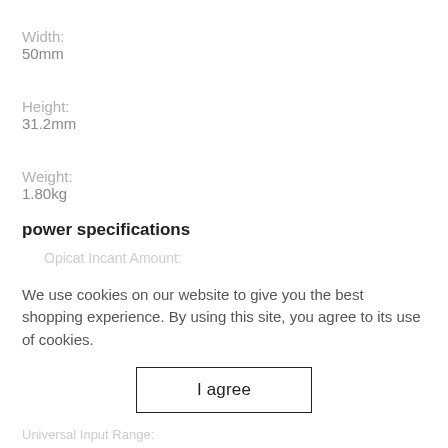Width:
50mm
Height:
31.2mm
Weight:
1.80kg
power specifications
We use cookies on our website to give you the best shopping experience. By using this site, you agree to its use of cookies.
I agree
Universal Input Range: